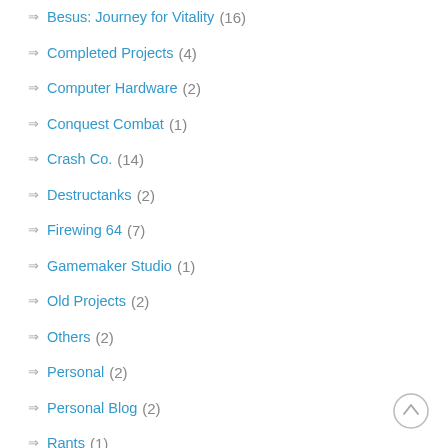Besus: Journey for Vitality (16)
Completed Projects (4)
Computer Hardware (2)
Conquest Combat (1)
Crash Co. (14)
Destructanks (2)
Firewing 64 (7)
Gamemaker Studio (1)
Old Projects (2)
Others (2)
Personal (2)
Personal Blog (2)
Rants (1)
Retro Runner (3)
Source Engine (1)
Steel Ego (3)